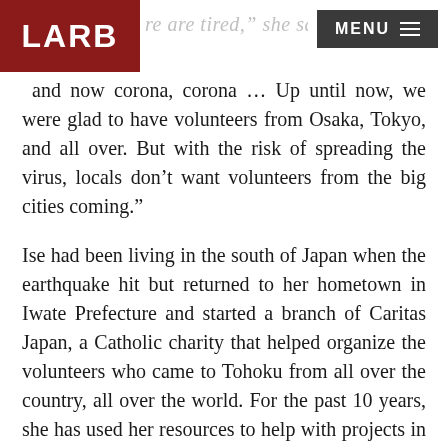LARB | MENU
re are tired,” she says. “It’s and now corona, corona … Up until now, we were glad to have volunteers from Osaka, Tokyo, and all over. But with the risk of spreading the virus, locals don’t want volunteers from the big cities coming.”
Ise had been living in the south of Japan when the earthquake hit but returned to her hometown in Iwate Prefecture and started a branch of Caritas Japan, a Catholic charity that helped organize the volunteers who came to Tohoku from all over the country, all over the world. For the past 10 years, she has used her resources to help with projects in Ōtsuchi Town and the cities of Ōfunato and Kamaishi that include gutting tsunami-damaged buildings, providing childcare,